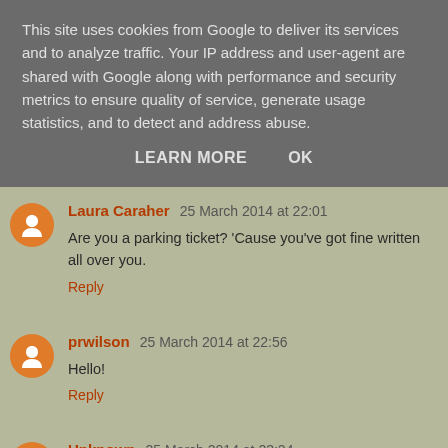This site uses cookies from Google to deliver its services and to analyze traffic. Your IP address and user-agent are shared with Google along with performance and security metrics to ensure quality of service, generate usage statistics, and to detect and address abuse.
LEARN MORE   OK
Laura Caraher  25 March 2014 at 22:01
Are you a parking ticket? 'Cause you've got fine written all over you.
Reply
prwilson  25 March 2014 at 22:56
Hello!
Reply
Unknown  25 March 2014 at 23:24